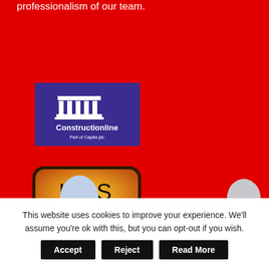professionalism of our team.
[Figure (logo): Constructionline logo — white Greek column icon above 'Constructionline' in white text on a dark purple/navy background, with 'Part of Capita plc' below]
[Figure (logo): HCS Safety logo — black text 'HCS SAFETY' on a gold/orange gradient background with rounded rectangle border]
This website uses cookies to improve your experience. We'll assume you're ok with this, but you can opt-out if you wish.
Accept
Reject
Read More